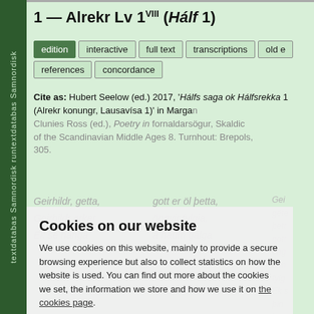1 — Alrekr Lv 1VIII (Hálf 1)
edition | interactive | full text | transcriptions | old e... | references | concordance
Cite as: Hubert Seelow (ed.) 2017, 'Hálfs saga ok Hálfsrekka 1 (Alrekr konungr, Lausavísa 1)' in Margaret Clunies Ross (ed.), Poetry in fornaldarsögur, Skaldic Poetry of the Scandinavian Middle Ages 8. Turnhout: Brepols, p. 305.
Geirhildr, getta,	gott er öl þetta,	Gei
géte
þett
Geirhildr arkar	öngvir fylgja,	gott
öng
Ek sé hanga	á háum gálga	ann
fylg
Ek s
þin
kon
han
hát
gal
seld
Óa
Cookies on our website
We use cookies on this website, mainly to provide a secure browsing experience but also to collect statistics on how the website is used. You can find out more about the cookies we set, the information we store and how we use it on the cookies page.
Continue